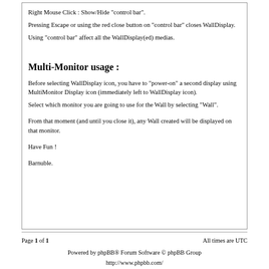Right Mouse Click : Show/Hide "control bar".
Pressing Escape or using the red close button on "control bar" closes WallDisplay.
Using "control bar" affect all the WallDisplay(ed) medias.
Multi-Monitor usage :
Before selecting WallDisplay icon, you have to "power-on" a second display using MultiMonitor Display icon (immediately left to WallDisplay icon).
Select which monitor you are going to use for the Wall by selecting "Wall".
From that moment (and until you close it), any Wall created will be displayed on that monitor.
Have Fun !
Barnuble.
Page 1 of 1   All times are UTC
Powered by phpBB® Forum Software © phpBB Group
http://www.phpbb.com/